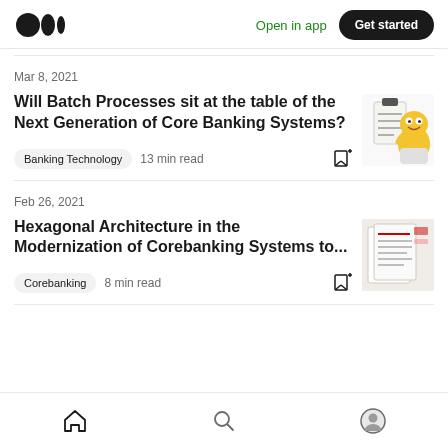Medium logo | Open in app | Get started
Mar 8, 2021
Will Batch Processes sit at the table of the Next Generation of Core Banking Systems?
Banking Technology   13 min read
Feb 26, 2021
Hexagonal Architecture in the Modernization of Corebanking Systems to...
Corebanking   8 min read
Home | Search | Profile